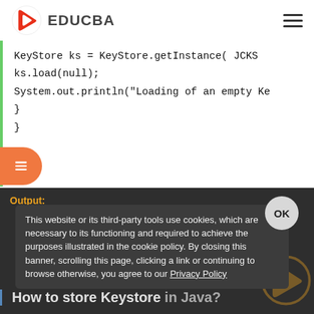EDUCBA
[Figure (screenshot): Code snippet showing: KeyStore ks = KeyStore.getInstance( JCEKS  ks.load(null); System.out.println("Loading of an empty Ke  }  }]
Output:
This website or its third-party tools use cookies, which are necessary to its functioning and required to achieve the purposes illustrated in the cookie policy. By closing this banner, scrolling this page, clicking a link or continuing to browse otherwise, you agree to our Privacy Policy
How to store Keystore in Java?
We have a lot of discussion of loading an empty keystore and...